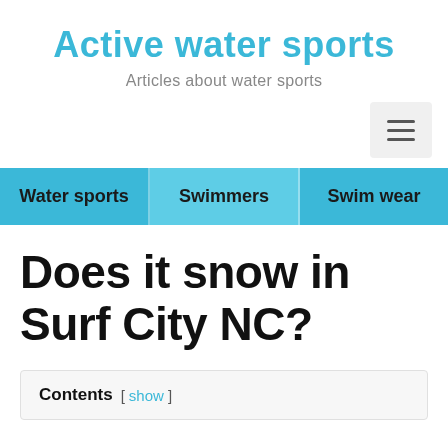Active water sports
Articles about water sports
Water sports  Swimmers  Swim wear
Does it snow in Surf City NC?
Contents [ show ]